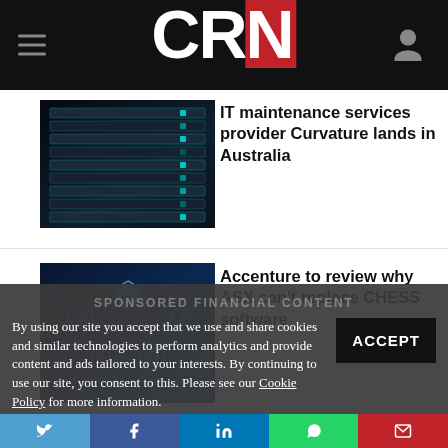CRN
IT maintenance services provider Curvature lands in Australia
[Figure (photo): Photo of server racks in a dark data center]
Accenture to review why ASX can't replace CHESS software
[Figure (photo): Blue digital blockchain / technology network icons illustration]
SPONSORED FINANCIAL CONTENT
By using our site you accept that we use and share cookies and similar technologies to perform analytics and provide content and ads tailored to your interests. By continuing to use our site, you consent to this. Please see our Cookie Policy for more information.